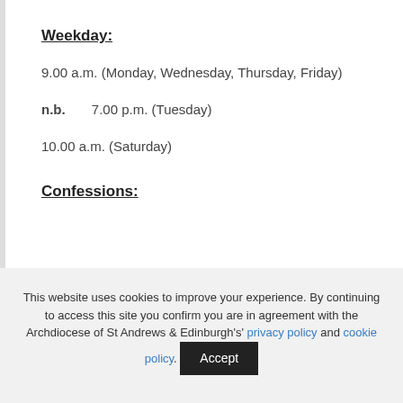Weekday:
9.00 a.m. (Monday, Wednesday, Thursday, Friday)
n.b.        7.00 p.m. (Tuesday)
10.00 a.m. (Saturday)
Confessions:
This website uses cookies to improve your experience. By continuing to access this site you confirm you are in agreement with the Archdiocese of St Andrews & Edinburgh's' privacy policy and cookie policy.